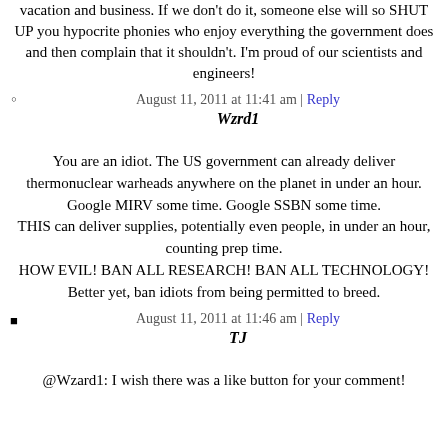vacation and business. If we don't do it, someone else will so SHUT UP you hypocrite phonies who enjoy everything the government does and then complain that it shouldn't. I'm proud of our scientists and engineers!
August 11, 2011 at 11:41 am | Reply
Wzrd1
You are an idiot. The US government can already deliver thermonuclear warheads anywhere on the planet in under an hour. Google MIRV some time. Google SSBN some time.
THIS can deliver supplies, potentially even people, in under an hour, counting prep time.
HOW EVIL! BAN ALL RESEARCH! BAN ALL TECHNOLOGY!
Better yet, ban idiots from being permitted to breed.
August 11, 2011 at 11:46 am | Reply
TJ
@Wzard1: I wish there was a like button for your comment!